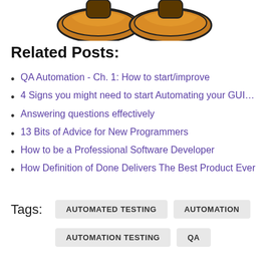[Figure (illustration): Cartoon illustration showing the bottom half of a character with orange/brown shoes visible at the top of the page]
Related Posts:
QA Automation - Ch. 1: How to start/improve
4 Signs you might need to start Automating your GUI…
Answering questions effectively
13 Bits of Advice for New Programmers
How to be a Professional Software Developer
How Definition of Done Delivers The Best Product Ever
Tags: AUTOMATED TESTING  AUTOMATION  AUTOMATION TESTING  QA